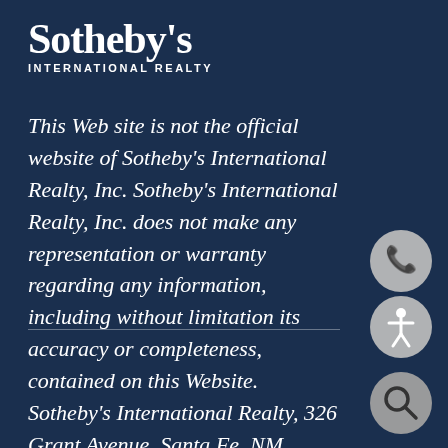Sotheby's INTERNATIONAL REALTY
This Web site is not the official website of Sotheby's International Realty, Inc. Sotheby's International Realty, Inc. does not make any representation or warranty regarding any information, including without limitation its accuracy or completeness, contained on this Website. Sotheby's International Realty, 326 Grant Avenue, Santa Fe, NM 87501, 505.988.2533.
[Figure (illustration): Accessibility icon button (person with arms outstretched in circle), phone icon button, and search/magnifying glass icon button — all circular grey buttons floating on the right side of the page]